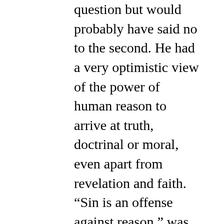question but would probably have said no to the second. He had a very optimistic view of the power of human reason to arrive at truth, doctrinal or moral, even apart from revelation and faith. “Sin is an offense against reason,” was his conviction. On the other hand is the view of Ivan Karamazov–although the words are not found in Dostoevsky’s great